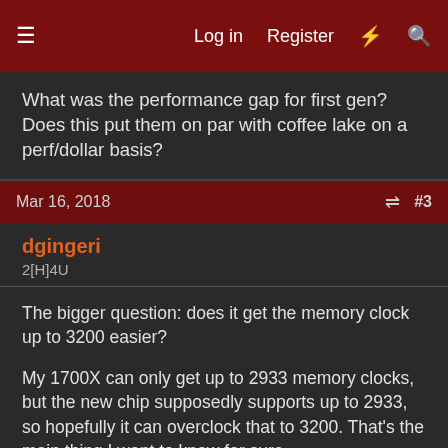Log in   Register
What was the performance gap for first gen? Does this put them on par with coffee lake on a perf/dollar basis?
Mar 16, 2018   #3
dgingeri
2[H]4U
The bigger question: does it get the memory clock up to 3200 easier?
My 1700X can only get up to 2933 memory clocks, but the new chip supposedly supports up to 2933, so hopefully it can overclock that to 3200. That's the main thing I want to know for sure.
Mar 16, 2018   #4